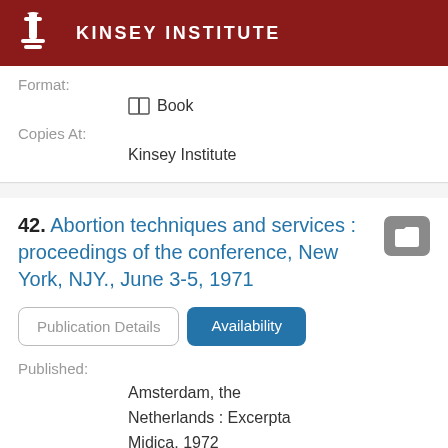KINSEY INSTITUTE
Format:
Book
Copies At:
Kinsey Institute
42. Abortion techniques and services : proceedings of the conference, New York, NJY., June 3-5, 1971
Publication Details
Availability
Published:
Amsterdam, the Netherlands : Excerpta Midica, 1972